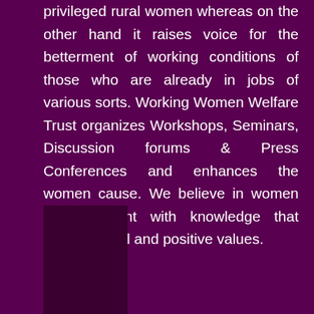privileged rural women whereas on the other hand it raises voice for the betterment of working conditions of those who are already in jobs of various sorts. Working Women Welfare Trust organizes Workshops, Seminars, Discussion forums & Press Conferences and enhances the women cause. We believe in women empowerment with knowledge that instills ethical and positive values.
[Figure (photo): Partial dark image visible at bottom left of page]